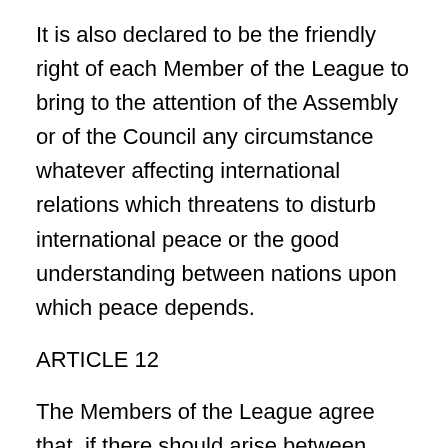It is also declared to be the friendly right of each Member of the League to bring to the attention of the Assembly or of the Council any circumstance whatever affecting international relations which threatens to disturb international peace or the good understanding between nations upon which peace depends.
ARTICLE 12
The Members of the League agree that, if there should arise between them any dispute likely to lead to a rupture they will submit the matter either to arbitration or judicial settlement or to enquiry by the Council, and they agree in no case to resort to war until three months after the award by the arbitrators or the judicial decision, or the report by the Council. In any case under this Article the award of the arbitrators or the judicial decision shall be made within a